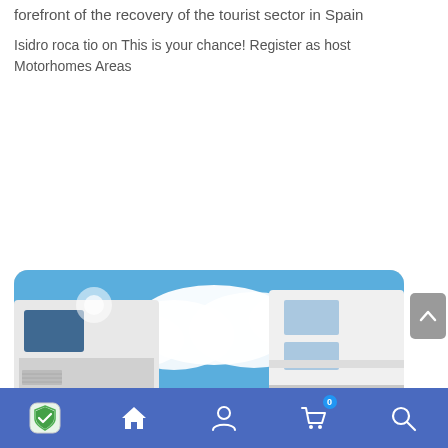forefront of the recovery of the tourist sector in Spain
Isidro roca tio on This is your chance! Register as host Motorhomes Areas
Related news:
[Figure (photo): Photo of motorhomes parked side by side under a blue sky with clouds]
Navigation bar with shield/home/user/cart/search icons